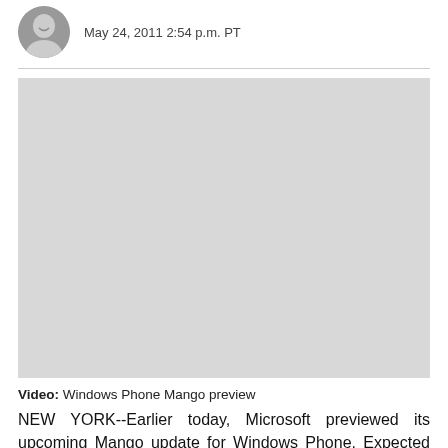May 24, 2011 2:54 p.m. PT
[Figure (photo): Large image placeholder (video thumbnail for Windows Phone Mango preview)]
Video: Windows Phone Mango preview
NEW YORK--Earlier today, Microsoft previewed its upcoming Mango update for Windows Phone. Expected to roll out to devices in the fall, Mango brings more than 500 new features, making it the